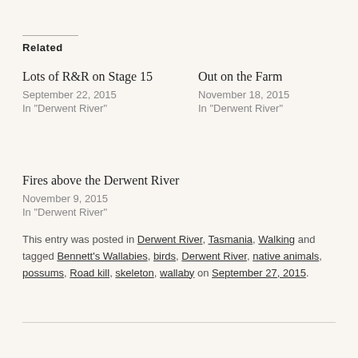Related
Lots of R&R on Stage 15
September 22, 2015
In "Derwent River"
Out on the Farm
November 18, 2015
In "Derwent River"
Fires above the Derwent River
November 9, 2015
In "Derwent River"
This entry was posted in Derwent River, Tasmania, Walking and tagged Bennett's Wallabies, birds, Derwent River, native animals, possums, Road kill, skeleton, wallaby on September 27, 2015.